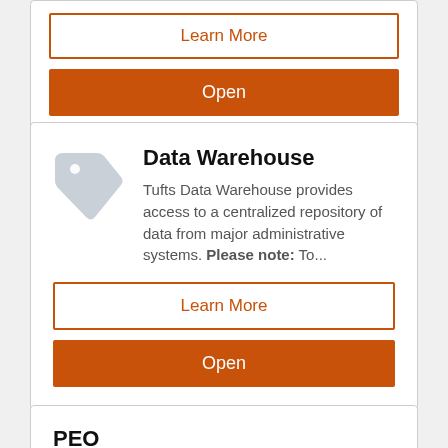[Figure (screenshot): Top portion of a card showing a partially visible 'Learn More' orange-outlined button and an orange 'Open' button]
Data Warehouse
Tufts Data Warehouse provides access to a centralized repository of data from major administrative systems. Please note: To...
Learn More
Open
PEO